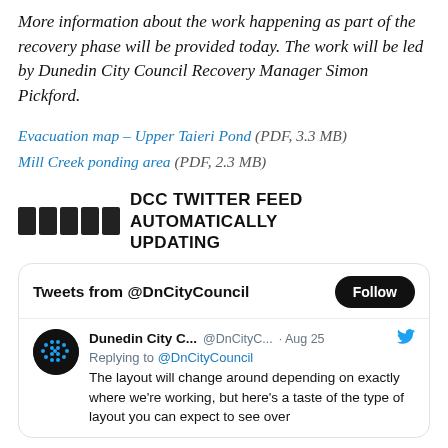More information about the work happening as part of the recovery phase will be provided today. The work will be led by Dunedin City Council Recovery Manager Simon Pickford.
Evacuation map – Upper Taieri Pond (PDF, 3.3 MB)
Mill Creek ponding area (PDF, 2.3 MB)
DCC TWITTER FEED AUTOMATICALLY UPDATING
[Figure (screenshot): Twitter widget showing Tweets from @DnCityCouncil with a Follow button, and a tweet from Dunedin City C... @DnCityC... Aug 25 replying to @DnCityCouncil: The layout will change around depending on exactly where we're working, but here's a taste of the type of layout you can expect to see over]